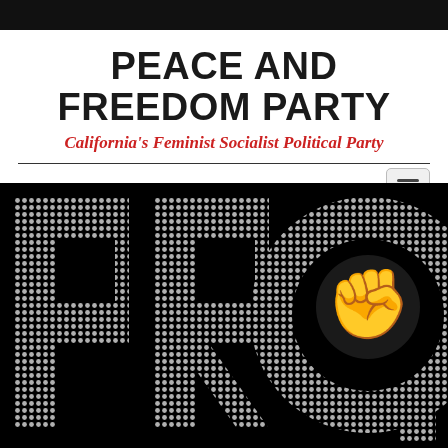PEACE AND FREEDOM PARTY
California's Feminist Socialist Political Party
[Figure (logo): Large black background image with dot-pattern letters PRQ where Q contains a raised fist symbol inside it — logo/graphic for the Peace and Freedom Party]